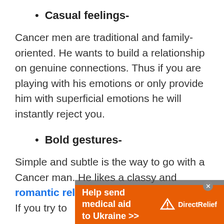Casual feelings-
Cancer men are traditional and family-oriented. He wants to build a relationship on genuine connections. Thus if you are playing with his emotions or only provide him with superficial emotions he will instantly reject you.
Bold gestures-
Simple and subtle is the way to go with a Cancer man. He likes a classy and romantic relationship over a playful one. If you try to